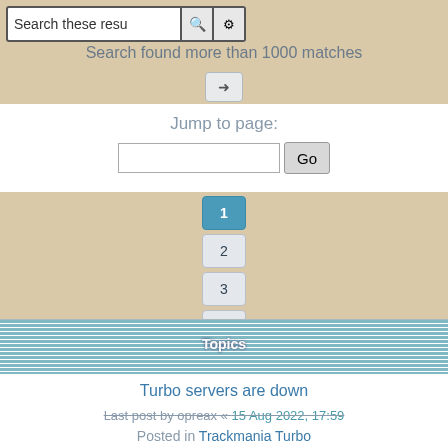[Figure (screenshot): Search bar with text input, magnifier button, and settings gear button]
Search found more than 1000 matches
Jump to page:
Go
1
2
3
4
5
...
40
>
Topics
Turbo servers are down
Last post by opreax « 15 Aug 2022, 17:59
Posted in Trackmania Turbo